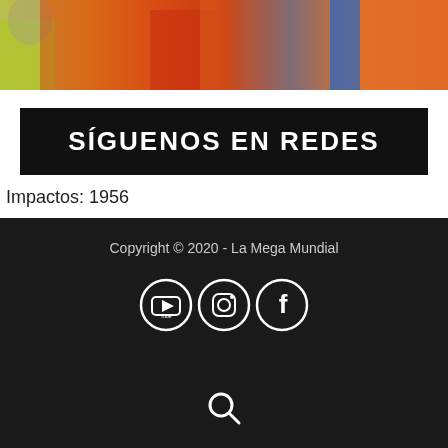[Figure (photo): Cropped photo showing people in colorful summer clothing with orange and blue tones]
[Figure (illustration): Black banner with bold white text reading SÍGUENOS EN REDES]
Impactos: 1956
Copyright © 2020 - La Mega Mundial
[Figure (illustration): Three white circle social media icons: YouTube, Instagram, Facebook on dark background]
[Figure (illustration): White search/magnifying glass icon on dark background]